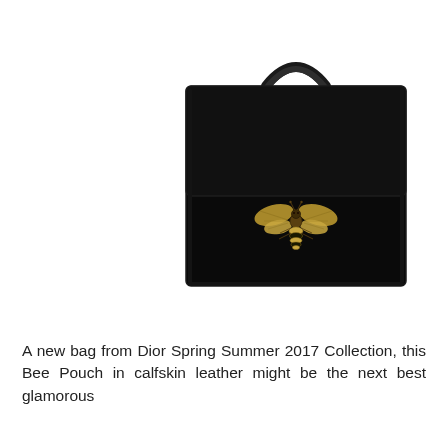[Figure (photo): A black calfskin leather Dior Bee Pouch handbag with a single top handle and a gold-tone bee clasp/charm on the front flap, photographed against a white background. The bag is rectangular with clean lines and visible edge stitching.]
A new bag from Dior Spring Summer 2017 Collection, this Bee Pouch in calfskin leather might be the next best glamorous